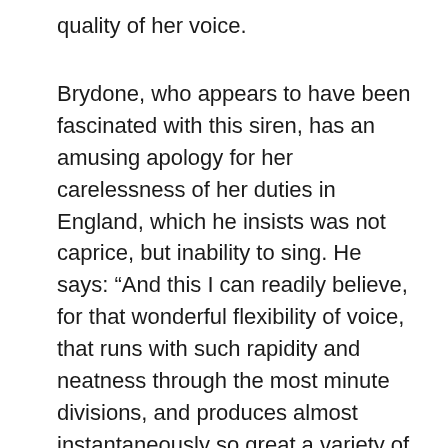quality of her voice.
Brydone, who appears to have been fascinated with this siren, has an amusing apology for her carelessness of her duties in England, which he insists was not caprice, but inability to sing. He says: “And this I can readily believe, for that wonderful flexibility of voice, that runs with such rapidity and neatness through the most minute divisions, and produces almost instantaneously so great a variety of modulation, must surely depend on the very nicest tones of the fibers; and if these are in the smallest degree relaxed, or their elasticity diminished, how is it possible that their contractions and expansions can so readily obey the will as to produce these effects? The opening of the glottis which forms the voice is so extremely small, and in every variety of tone its diameter